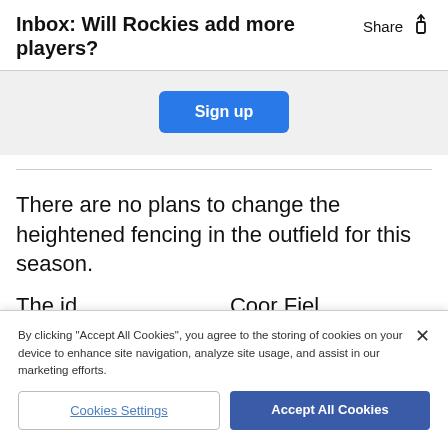Inbox: Will Rockies add more players?
[Figure (other): Sign up button on a light grey banner background]
There are no plans to change the heightened fencing in the outfield for this season.
Th...e i... ...a... ...ti... ...ll... ...e... ...Coo...r...Fiel...
By clicking "Accept All Cookies", you agree to the storing of cookies on your device to enhance site navigation, analyze site usage, and assist in our marketing efforts.